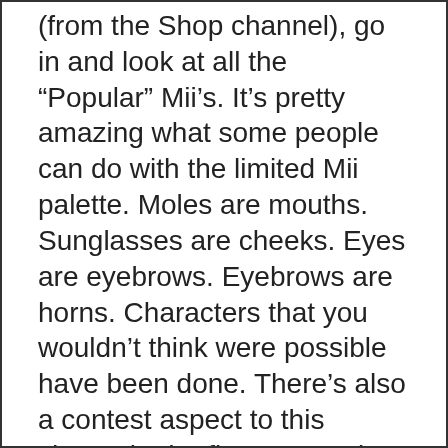(from the Shop channel), go in and look at all the “Popular” Mii’s. It’s pretty amazing what some people can do with the limited Mii palette. Moles are mouths. Sunglasses are cheeks. Eyes are eyebrows. Eyebrows are horns. Characters that you wouldn’t think were possible have been done. There’s also a contest aspect to this channel. The first contest is to create Mario without his cap. After seeing what the world had done,